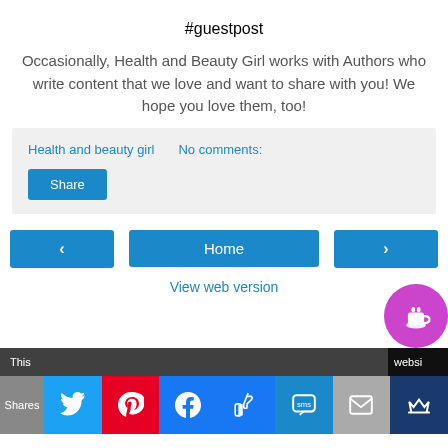#guestpost
Occasionally, Health and Beauty Girl works with Authors who write content that we love and want to share with you! We hope you love them, too!
Health and beauty girl   No comments:   Share
[Figure (screenshot): Navigation buttons: left arrow, Home button, right arrow, and View web version link]
[Figure (screenshot): Overlay card with text: Thank you for visiting. You can now buy me a coffee!, with magenta coffee cup icon, black strips with partial text 'This' and 'websi', and social share bar at bottom with Twitter, Pinterest, Facebook, Like, SMS, Email, Crown buttons and Shares label]